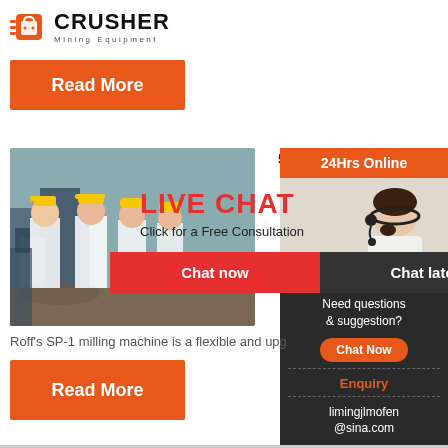[Figure (logo): CRUSHER Mining Equipment logo with red shopping bag/delivery icon and bold black text]
Read More
[Figure (photo): Workers in yellow hard hats at industrial/mining site, live chat overlay popup with LIVE CHAT title, Click for a Free Consultation, Chat now and Chat later buttons]
5 STEPS
[Figure (photo): Customer service representative with headset, right panel with 24Hrs Online header, Need questions & suggestion? text, Chat Now button, Enquiry link, limingjlmofen@sina.com email]
Roff's SP-1 milling machine is a flexible and upg
Read More